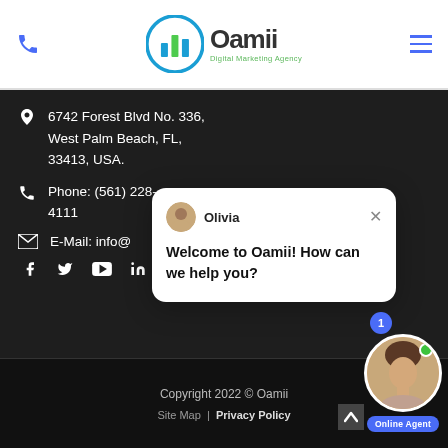Oamii Digital Marketing Agency - header with logo, phone icon, and hamburger menu
6742 Forest Blvd No. 336, West Palm Beach, FL, 33413, USA.
Phone: (561) 228-4111
E-Mail: info@...
[Figure (screenshot): Chat popup overlay with agent Olivia saying 'Welcome to Oamii! How can we help you?']
Copyright 2022 © Oamii | Site Map | Privacy Policy | Online Agent widget